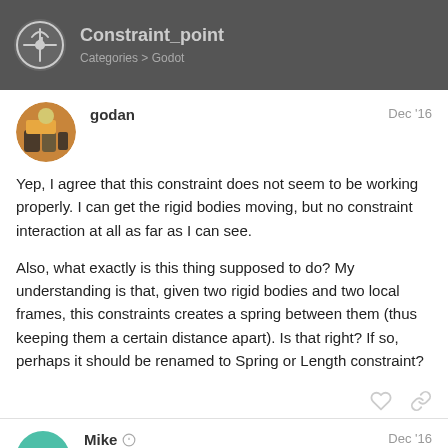Constraint_point — Categories > Godot
godan Dec '16
Yep, I agree that this constraint does not seem to be working properly. I can get the rigid bodies moving, but no constraint interaction at all as far as I can see.

Also, what exactly is this thing supposed to do? My understanding is that, given two rigid bodies and two local frames, this constraints creates a spring between them (thus keeping them a certain distance apart). Is that right? If so, perhaps it should be renamed to Spring or Length constraint?
Mike Contributor Dec '16
2 / 5